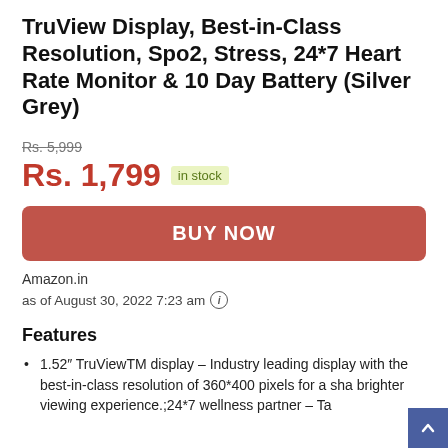TruView Display, Best-in-Class Resolution, Spo2, Stress, 24*7 Heart Rate Monitor & 10 Day Battery (Silver Grey)
Rs. 5,999 (strikethrough)
Rs. 1,799 in stock
BUY NOW
Amazon.in
as of August 30, 2022 7:23 am (i)
Features
1.52″ TruViewTM display – Industry leading display with the best-in-class resolution of 360*400 pixels for a sha brighter viewing experience.;24*7 wellness partner – Ta…